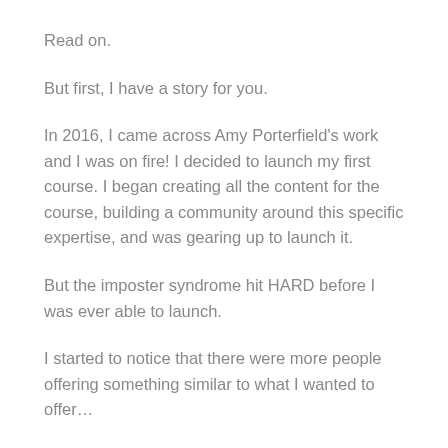Read on.
But first, I have a story for you.
In 2016, I came across Amy Porterfield's work and I was on fire! I decided to launch my first course. I began creating all the content for the course, building a community around this specific expertise, and was gearing up to launch it.
But the imposter syndrome hit HARD before I was ever able to launch.
I started to notice that there were more people offering something similar to what I wanted to offer…
And I started to wonder if I had enough experience to even be the 'expert' in that space.
Turns out, I never launched it, threw in the towel on the entire venture, and went back to dabbling with everything